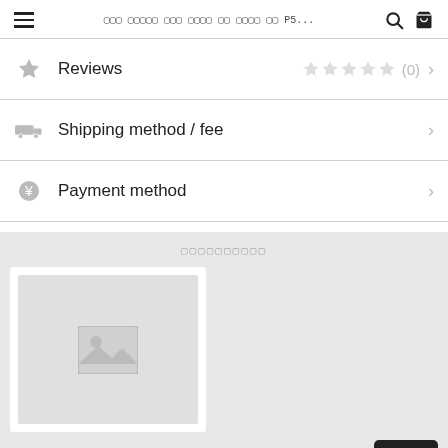☰  ▒▒▒ ▒▒▒▒▒ ▒▒▒ ▒▒▒▒ ▒▒ ▒▒▒▒ ▒▒ P5...  🔍  🛒
Reviews ★★★★★ (0) >
Shipping method / fee >
Payment method >
▒▒▒▒▒▒▒▒▒▒
[Figure (photo): Product image placeholder card with landscape image icon]
¥1,5▒▒